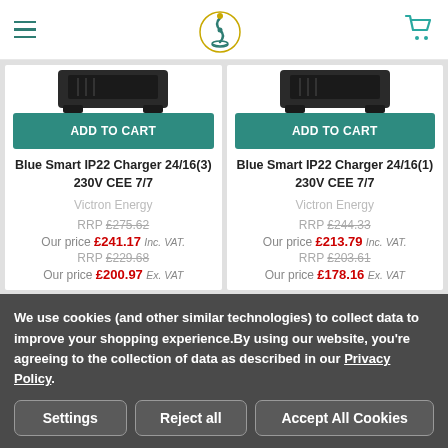Navigation header with hamburger menu, logo, and cart icon
[Figure (photo): Product image of Blue Smart IP22 Charger 24/16(3) 230V CEE 7/7 - dark colored charger device]
ADD TO CART
Blue Smart IP22 Charger 24/16(3) 230V CEE 7/7
Victron Energy
RRP £275.62
Our price £241.17 Inc. VAT.
RRP £229.68
Our price £200.97 Ex. VAT
[Figure (photo): Product image of Blue Smart IP22 Charger 24/16(1) 230V CEE 7/7 - dark colored charger device]
ADD TO CART
Blue Smart IP22 Charger 24/16(1) 230V CEE 7/7
Victron Energy
RRP £244.33
Our price £213.79 Inc. VAT.
RRP £203.61
Our price £178.16 Ex. VAT
We use cookies (and other similar technologies) to collect data to improve your shopping experience. By using our website, you're agreeing to the collection of data as described in our Privacy Policy.
Settings
Reject all
Accept All Cookies